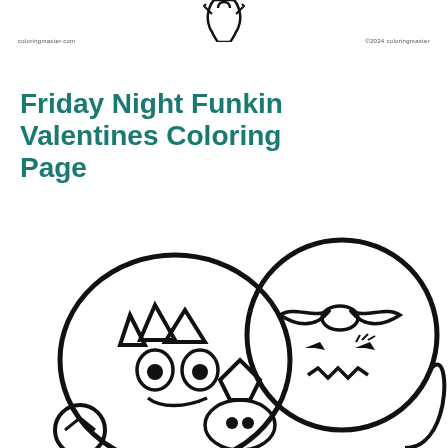[Figure (illustration): Partial view of a cartoon character (game character from Friday Night Funkin) at the top center of the page, showing just the lower portion/torso.]
coloringmaster.com   ©2024 coloringmaster
Friday Night Funkin Valentines Coloring Page
[Figure (illustration): Black and white coloring page illustration showing Friday Night Funkin characters in a valentines themed scene - cartoon characters with large heads and expressive faces, rendered as outlines suitable for coloring.]